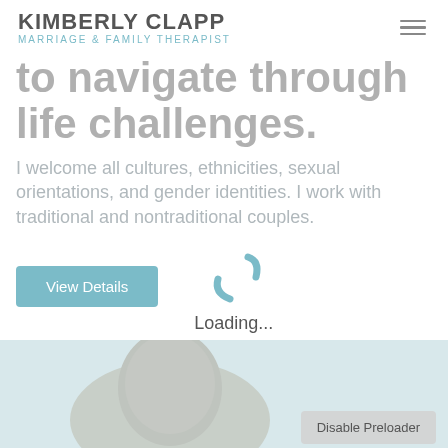KIMBERLY CLAPP MARRIAGE & FAMILY THERAPIST
to navigate through life challenges.
I welcome all cultures, ethnicities, sexual orientations, and gender identities. I work with traditional and nontraditional couples.
[Figure (screenshot): View Details button and Loading spinner with 'Loading...' text overlay on the page]
[Figure (photo): Partial photo of a person with grey hair at the bottom of the page, with a 'Disable Preloader' button overlay]